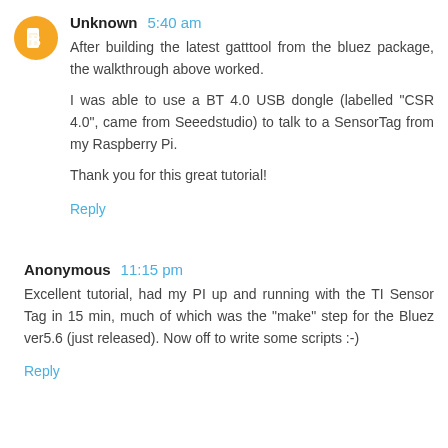Unknown 5:40 am
After building the latest gatttool from the bluez package, the walkthrough above worked.

I was able to use a BT 4.0 USB dongle (labelled "CSR 4.0", came from Seeedstudio) to talk to a SensorTag from my Raspberry Pi.

Thank you for this great tutorial!

Reply
Anonymous 11:15 pm
Excellent tutorial, had my PI up and running with the TI Sensor Tag in 15 min, much of which was the "make" step for the Bluez ver5.6 (just released). Now off to write some scripts :-)

Reply